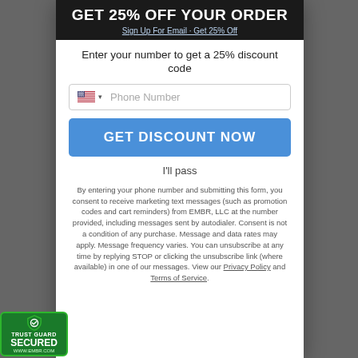GET 25% OFF YOUR ORDER
Sign Up For Email · Get 25% Off
Enter your number to get a 25% discount code
Phone Number (input field with US flag)
GET DISCOUNT NOW
I'll pass
By entering your phone number and submitting this form, you consent to receive marketing text messages (such as promotion codes and cart reminders) from EMBR, LLC at the number provided, including messages sent by autodialer. Consent is not a condition of any purchase. Message and data rates may apply. Message frequency varies. You can unsubscribe at any time by replying STOP or clicking the unsubscribe link (where available) in one of our messages. View our Privacy Policy and Terms of Service.
[Figure (logo): Trust Guard Secured badge with shield icon, green background, www.embr.com]